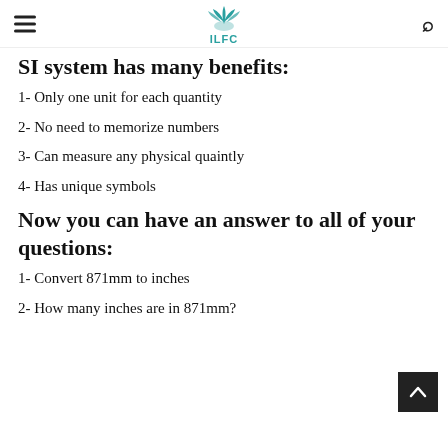ILFC
SI system has many benefits:
1- Only one unit for each quantity
2- No need to memorize numbers
3- Can measure any physical quaintly
4- Has unique symbols
Now you can have an answer to all of your questions:
1- Convert 871mm to inches
2- How many inches are in 871mm?